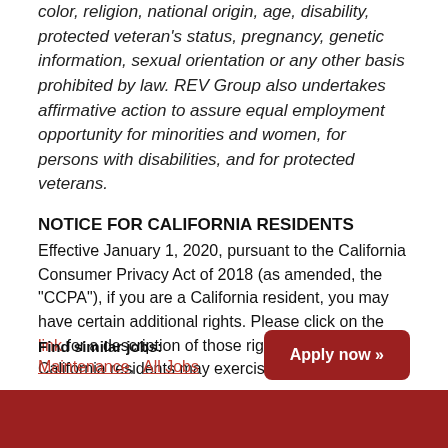color, religion, national origin, age, disability, protected veteran's status, pregnancy, genetic information, sexual orientation or any other basis prohibited by law. REV Group also undertakes affirmative action to assure equal employment opportunity for minorities and women, for persons with disabilities, and for protected veterans.
NOTICE FOR CALIFORNIA RESIDENTS
Effective January 1, 2020, pursuant to the California Consumer Privacy Act of 2018 (as amended, the "CCPA"), if you are a California resident, you may have certain additional rights. Please click on the link for a description of those rights and how California residents may exercise them.
Find similar jobs:
Maintenance,  All Jobs
[Figure (other): Apply now button with red background and white text]